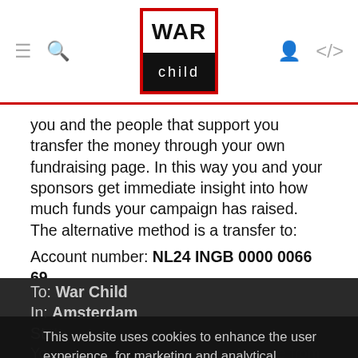War Child logo header with navigation icons
you and the people that support you transfer the money through your own fundraising page. In this way you and your sponsors get immediate insight into how much funds your campaign has raised. The alternative method is a transfer to:
Account number: NL24 INGB 0000 0066 69
To: War Child
In: Amsterdam
St...
You will receive this payment reference from our Action Team. The latter is important for us, in order to be able to link the donation administratively to your campaign. By using campaign data, we can recognize your donation(s) in our accounts. We can also confirm receipt of the collected amount in a personal letter. If you have not received a payment reference, please email
This website uses cookies to enhance the user experience, for marketing and analytical purposes. Read more
ACCEPT
Decline